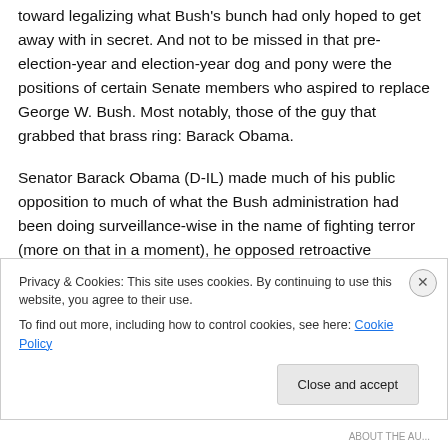toward legalizing what Bush's bunch had only hoped to get away with in secret. And not to be missed in that pre-election-year and election-year dog and pony were the positions of certain Senate members who aspired to replace George W. Bush. Most notably, those of the guy that grabbed that brass ring: Barack Obama.
Senator Barack Obama (D-IL) made much of his public opposition to much of what the Bush administration had been doing surveillance-wise in the name of fighting terror (more on that in a moment), he opposed retroactive immunity for telecom...
Privacy & Cookies: This site uses cookies. By continuing to use this website, you agree to their use.
To find out more, including how to control cookies, see here: Cookie Policy